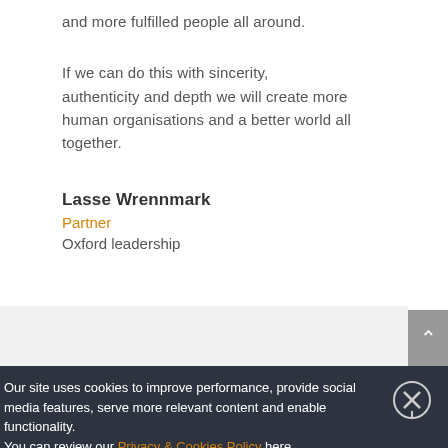and more fulfilled people all around.
If we can do this with sincerity, authenticity and depth we will create more human organisations and a better world all together.
Lasse Wrennmark
Partner
Oxford leadership
Our site uses cookies to improve performance, provide social media features, serve more relevant content and enable functionality. You can review our Privacy & Cookies Policy here.